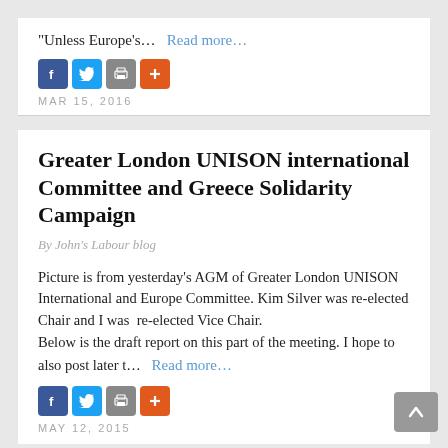“Unless Europe’s…   Read more…
[Figure (other): Social sharing icons: Facebook (blue), Twitter (blue), Print (gray), Add/Plus (orange-red)]
MAR 15, 2016
Greater London UNISON international Committee and Greece Solidarity Campaign
By John’s Labour blog
Picture is from yesterday’s AGM of Greater London UNISON International and Europe Committee. Kim Silver was re-elected Chair and I was  re-elected Vice Chair.
Below is the draft report on this part of the meeting. I hope to also post later t…   Read more…
[Figure (other): Social sharing icons: Facebook (blue), Twitter (blue), Print (gray), Add/Plus (orange-red)]
MAY 12, 2015